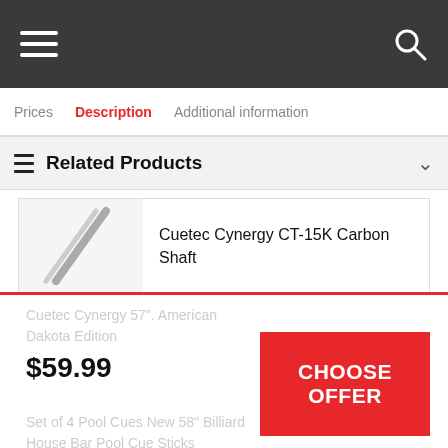Navigation bar with hamburger menu and search icon
Prices  Description  Additional information
Related Products
Cuetec Cynergy CT-15K Carbon Shaft
$59.99
CHOOSE OFFER
Cuetec Cynergy 57". American Dakota Edition
Set of 4 Pool Cues New 58" Billiard House Bar Pool Cue Sticks